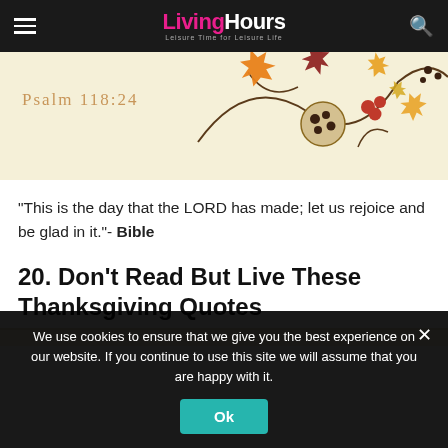LivingHours — Leisure Time for Leisure Life
[Figure (illustration): Autumn/Thanksgiving decorative illustration with fall leaves (orange, red, dark red), berries, and swirling vines on a warm beige background. Text 'Psalm 118:24' in orange on the left.]
“This is the day that the LORD has made; let us rejoice and be glad in it.”- Bible
20. Don’t Read But Live These Thanksgiving Quotes
We use cookies to ensure that we give you the best experience on our website. If you continue to use this site we will assume that you are happy with it.